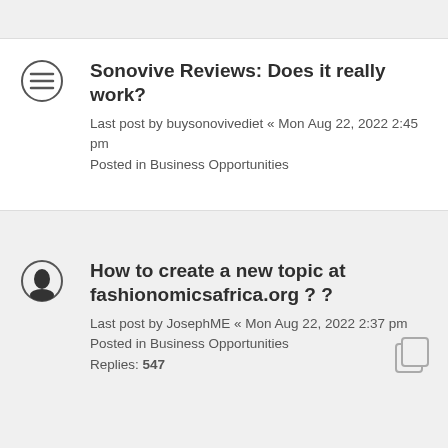Sonovive Reviews: Does it really work?
Last post by buysonovivediet « Mon Aug 22, 2022 2:45 pm
Posted in Business Opportunities
How to create a new topic at fashionomicsafrica.org ? ?
Last post by JosephME « Mon Aug 22, 2022 2:37 pm
Posted in Business Opportunities
Replies: 547